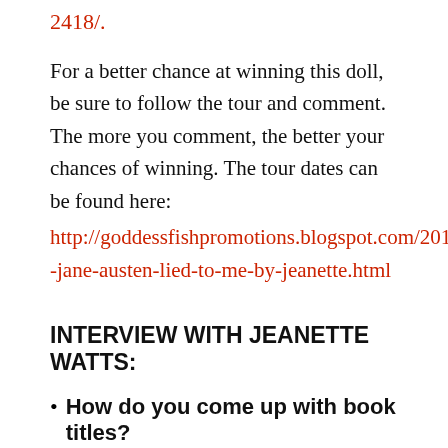2418/.
For a better chance at winning this doll, be sure to follow the tour and comment. The more you comment, the better your chances of winning. The tour dates can be found here:
http://goddessfishpromotions.blogspot.com/2017/08/vbt-jane-austen-lied-to-me-by-jeanette.html
INTERVIEW WITH JEANETTE WATTS:
How do you come up with book titles?
It's a fairly logical
[Figure (photo): Book cover image with red background showing a partial figure, possibly a Regency-era portrait.]